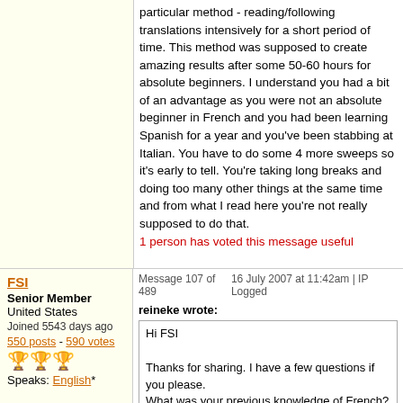particular method - reading/following translations intensively for a short period of time. This method was supposed to create amazing results after some 50-60 hours for absolute beginners. I understand you had a bit of an advantage as you were not an absolute beginner in French and you had been learning Spanish for a year and you've been stabbing at Italian. You have to do some 4 more sweeps so it's early to tell. You're taking long breaks and doing too many other things at the same time and from what I read here you're not really supposed to do that.
1 person has voted this message useful
FSI
Senior Member
United States
Joined 5543 days ago
550 posts - 590 votes
Speaks: English*
Message 107 of 489    16 July 2007 at 11:42am | IP Logged
reineke wrote:
Hi FSI

Thanks for sharing. I have a few questions if you please.
What was your previous knowledge of French? Italian? How many hours did you roughly spend on it? How long did you study Spanish? You say you were not able